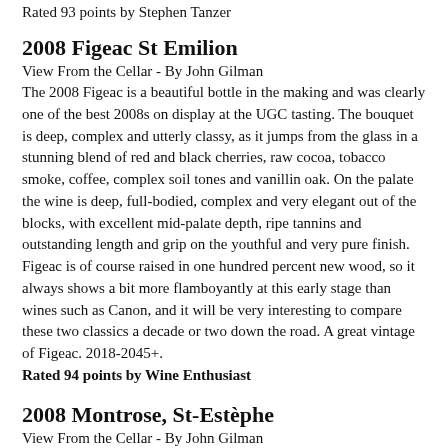Rated 93 points by Stephen Tanzer
2008 Figeac St Emilion
View From the Cellar  - By John Gilman
The 2008 Figeac is a beautiful bottle in the making and was clearly one of the best 2008s on display at the UGC tasting. The bouquet is deep, complex and utterly classy, as it jumps from the glass in a stunning blend of red and black cherries, raw cocoa, tobacco smoke, coffee, complex soil tones and vanillin oak. On the palate the wine is deep, full-bodied, complex and very elegant out of the blocks, with excellent mid-palate depth, ripe tannins and outstanding length and grip on the youthful and very pure finish. Figeac is of course raised in one hundred percent new wood, so it always shows a bit more flamboyantly at this early stage than wines such as Canon, and it will be very interesting to compare these two classics a decade or two down the road. A great vintage of Figeac. 2018-2045+.
Rated 94 points by Wine Enthusiast
2008 Montrose, St-Estèphe
View From the Cellar - By John Gilman
Château Montrose is making such profound and classic wines these days that it is hard not to argue that this is the golden age for this estate! The